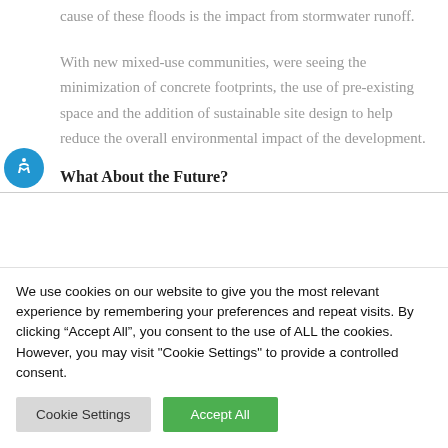cause of these floods is the impact from stormwater runoff.
With new mixed-use communities, were seeing the minimization of concrete footprints, the use of pre-existing space and the addition of sustainable site design to help reduce the overall environmental impact of the development.
What About the Future?
We use cookies on our website to give you the most relevant experience by remembering your preferences and repeat visits. By clicking “Accept All”, you consent to the use of ALL the cookies. However, you may visit "Cookie Settings" to provide a controlled consent.